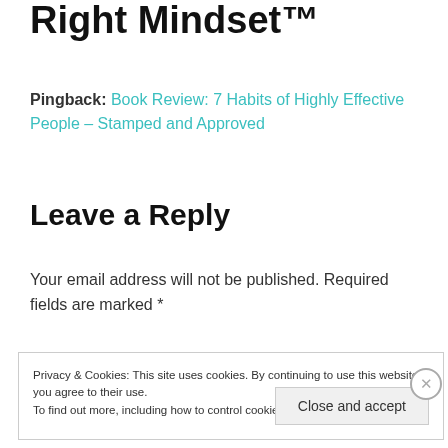Right Mindset™
Pingback: Book Review: 7 Habits of Highly Effective People – Stamped and Approved
Leave a Reply
Your email address will not be published. Required fields are marked *
Privacy & Cookies: This site uses cookies. By continuing to use this website, you agree to their use.
To find out more, including how to control cookies, see here: Cookie Policy